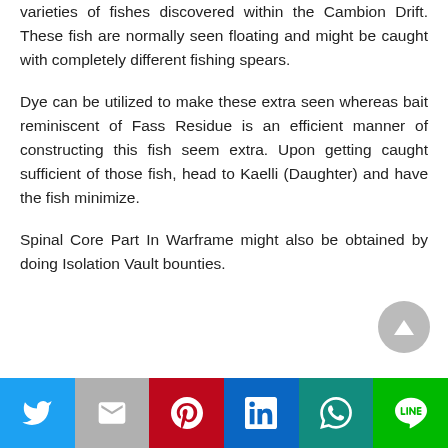varieties of fishes discovered within the Cambion Drift. These fish are normally seen floating and might be caught with completely different fishing spears.
Dye can be utilized to make these extra seen whereas bait reminiscent of Fass Residue is an efficient manner of constructing this fish seem extra. Upon getting caught sufficient of those fish, head to Kaelli (Daughter) and have the fish minimize.
Spinal Core Part In Warframe might also be obtained by doing Isolation Vault bounties.
[Figure (infographic): Social share button bar with Twitter, Gmail, Pinterest, LinkedIn, WhatsApp, and Line icons in a row at the bottom of the page. A circular scroll-to-top button with an upward triangle is positioned above the bar on the right side.]